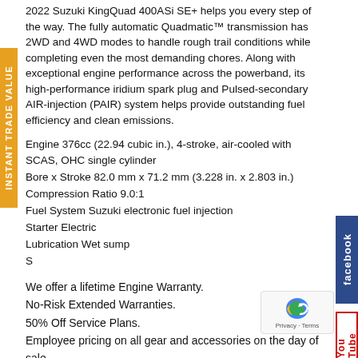2022 Suzuki KingQuad 400ASi SE+ helps you every step of the way. The fully automatic Quadmatic™ transmission has 2WD and 4WD modes to handle rough trail conditions while completing even the most demanding chores. Along with exceptional engine performance across the powerband, its high-performance iridium spark plug and Pulsed-secondary AIR-injection (PAIR) system helps provide outstanding fuel efficiency and clean emissions.
Engine 376cc (22.94 cubic in.), 4-stroke, air-cooled with SCAS, OHC single cylinder
Bore x Stroke 82.0 mm x 71.2 mm (3.228 in. x 2.803 in.)
Compression Ratio 9.0:1
Fuel System Suzuki electronic fuel injection
Starter Electric
Lubrication Wet sump
S
We offer a lifetime Engine Warranty.
No-Risk Extended Warranties.
50% Off Service Plans.
Employee pricing on all gear and accessories on the day of sale.
Financing for everyone.
Trade-ins accepted.
Call Cycle Springs Powersports for all your ATV and Quad questions! 727-771-1211